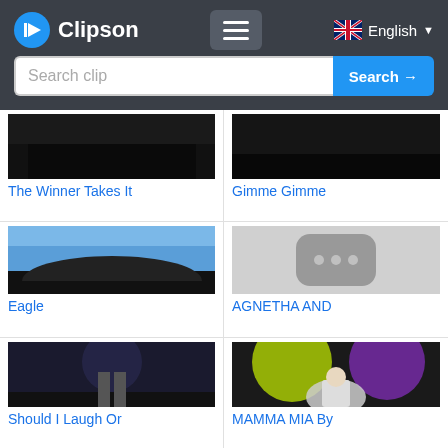Clipson — Search clip — Search → — English
[Figure (screenshot): Thumbnail for 'The Winner Takes It' video clip, dark background]
The Winner Takes It
[Figure (screenshot): Thumbnail for 'Gimme Gimme' video clip, dark background]
Gimme Gimme
[Figure (screenshot): Thumbnail for 'Eagle' video clip, snowy mountain with blue sky]
Eagle
[Figure (screenshot): Placeholder thumbnail for 'AGNETHA AND' video clip, grey with YouTube-style loading icon]
AGNETHA AND
[Figure (screenshot): Thumbnail for 'Should I Laugh Or' video clip, dark stage scene]
Should I Laugh Or
[Figure (screenshot): Thumbnail for 'MAMMA MIA By' video clip, singer on stage with green and purple lights]
MAMMA MIA By